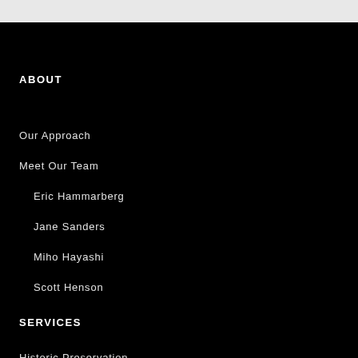ABOUT
Our Approach
Meet Our Team
Eric Hammarberg
Jane Sanders
Miho Hayashi
Scott Henson
SERVICES
Historic Preservation
Sustainable Design